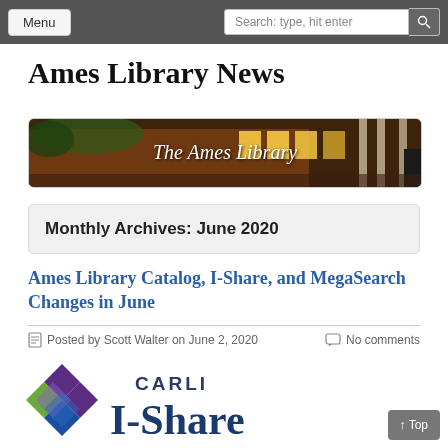Menu | Search: type, hit enter
Ames Library News
[Figure (photo): The Ames Library building exterior banner with text 'The Ames Library']
Monthly Archives: June 2020
Ames Library Catalog, I-Share, and MegaSearch Changes in June
Posted by Scott Walter on June 2, 2020   No comments
[Figure (logo): CARLI I-Share logo with diamond/square pattern on the left and 'CARLI I-Share' text]